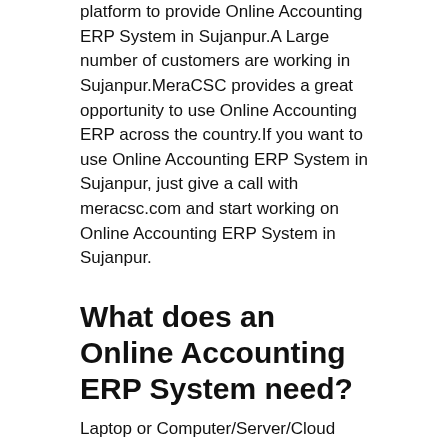platform to provide Online Accounting ERP System in Sujanpur.A Large number of customers are working in Sujanpur.MeraCSC provides a great opportunity to use Online Accounting ERP across the country.If you want to use Online Accounting ERP System in Sujanpur, just give a call with meracsc.com and start working on Online Accounting ERP System in Sujanpur.
What does an Online Accounting ERP System need?
Laptop or Computer/Server/Cloud
Internet
Trending Tags : None